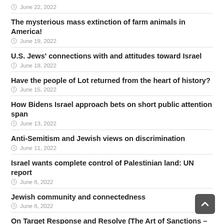June 22, 2022
The mysterious mass extinction of farm animals in America!
June 19, 2022
U.S. Jews' connections with and attitudes toward Israel
June 18, 2022
Have the people of Lot returned from the heart of history?
June 15, 2022
How Bidens Israel approach bets on short public attention span
June 13, 2022
Anti-Semitism and Jewish views on discrimination
June 11, 2022
Israel wants complete control of Palestinian land: UN report
June 8, 2022
Jewish community and connectedness
June 8, 2022
On Target Response and Resolve (The Art of Sanctions – Part 7)
June 6, 2022